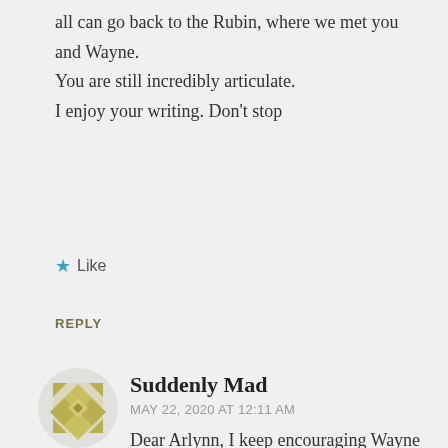all can go back to the Rubin, where we met you and Wayne.
You are still incredibly articulate.
I enjoy your writing. Don't stop
★ Like
REPLY
[Figure (illustration): Circular avatar with gold/olive geometric quilt pattern on gray background]
Suddenly Mad
MAY 22, 2020 AT 12:11 AM
Dear Arlynn, I keep encouraging Wayne to get in touch with you. Perhaps you will take the initiative and